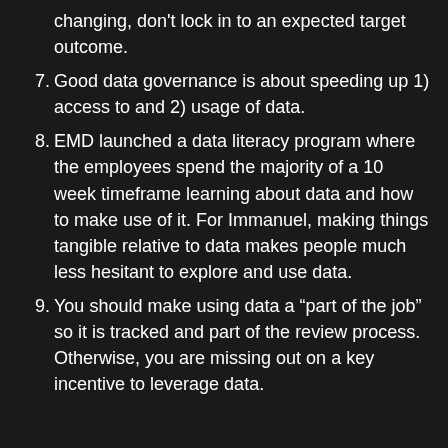changing, don't lock in to an expected target outcome.
7. Good data governance is about speeding up 1) access to and 2) usage of data.
8. EMD launched a data literacy program where the employees spend the majority of a 10 week timeframe learning about data and how to make use of it. For Immanuel, making things tangible relative to data makes people much less hesitant to explore and use data.
9. You should make using data a “part of the job” so it is tracked and part of the review process. Otherwise, you are missing out on a key incentive to leverage data.